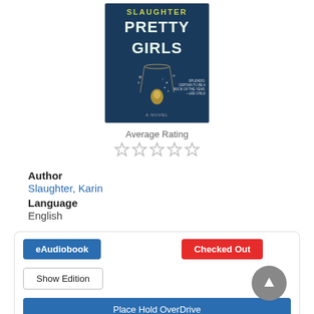[Figure (illustration): Book cover for 'Pretty Girls' by Slaughter (Karin Slaughter). Dark blue background with necklace imagery and cover text. Subtitle 'A Novel'. Blurb text: 'Splendid. Certain to be a book of the year. -Lee Child']
Average Rating
[Figure (other): 5 empty/unfilled star rating icons]
Author
Slaughter, Karin
Language
English
eAudiobook
Checked Out
Show Edition
Place Hold OverDrive
Preview Part 1